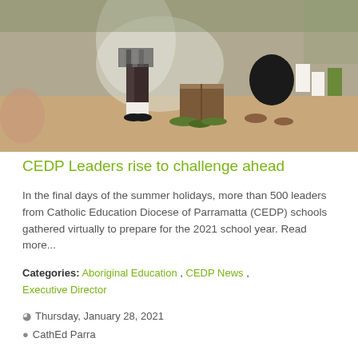[Figure (photo): Outdoor scene with people around a smoking fire or ceremony, including students in school uniforms sitting in background and a person crouching near a wooden box with leaves.]
CEDP Leaders rise to challenge ahead
In the final days of the summer holidays, more than 500 leaders from Catholic Education Diocese of Parramatta (CEDP) schools gathered virtually to prepare for the 2021 school year. Read more...
Categories: Aboriginal Education , CEDP News , Executive Director
Thursday, January 28, 2021
CathEd Parra